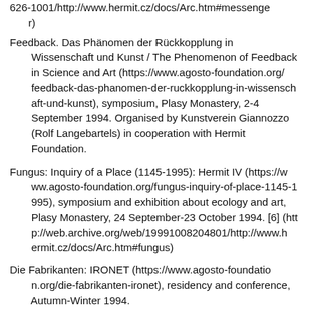626-1001/http://www.hermit.cz/docs/Arc.htm#messenger)
Feedback. Das Phänomen der Rückkopplung in Wissenschaft und Kunst / The Phenomenon of Feedback in Science and Art (https://www.agosto-foundation.org/feedback-das-phanomen-der-ruckkopplung-in-wissenschaft-und-kunst), symposium, Plasy Monastery, 2-4 September 1994. Organised by Kunstverein Giannozzo (Rolf Langebartels) in cooperation with Hermit Foundation.
Fungus: Inquiry of a Place (1145-1995): Hermit IV (https://www.agosto-foundation.org/fungus-inquiry-of-place-1145-1995), symposium and exhibition about ecology and art, Plasy Monastery, 24 September-23 October 1994. [6] (http://web.archive.org/web/19991008204801/http://www.hermit.cz/docs/Arc.htm#fungus)
Die Fabrikanten: IRONET (https://www.agosto-foundation.org/die-fabrikanten-ironet), residency and conference, Autumn-Winter 1994.
Meridian Crossings: Hermit V. Symposium & Entarctic Shelf Festival and Workshop (https://www.agosto-foundation.org/meridian-crossings), Plasy Monastery/Emauzy